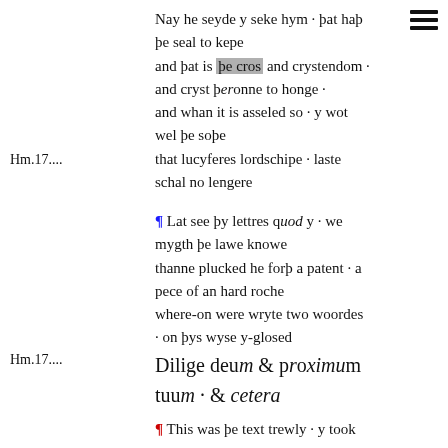Nay he seyde y seke hym · þat haþ þe seal to kepe
and þat is þe cros and crystendom ·
and cryst þeronne to honge ·
and whan it is asseled so · y wot wel þe soþe
that lucyferes lordschipe · laste schal no lengere
Hm.17....
¶ Lat see þy lettres quod y · we mygth þe lawe knowe
thanne plucked he forþ a patent · a pece of an hard roche
where-on were wryte two woordes · on þys wyse y-glosed
Hm.17....
Dilige deum & proximum tuum · & cetera
¶ This was þe text trewly · y took